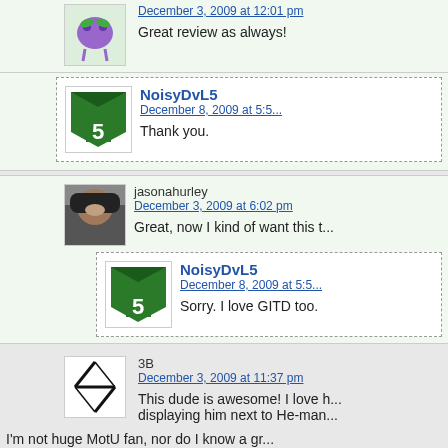Great review as always!
NoisyDvL5
December 8, 2009 at 5:5...
Thank you.
jasonahurley
December 3, 2009 at 6:02 pm
Great, now I kind of want this t...
NoisyDvL5
December 8, 2009 at 5:5...
Sorry. I love GITD too.
3B
December 3, 2009 at 11:37 pm
This dude is awesome! I love h... displaying him next to He-man...
I'm not huge MotU fan, nor do I know a gr...